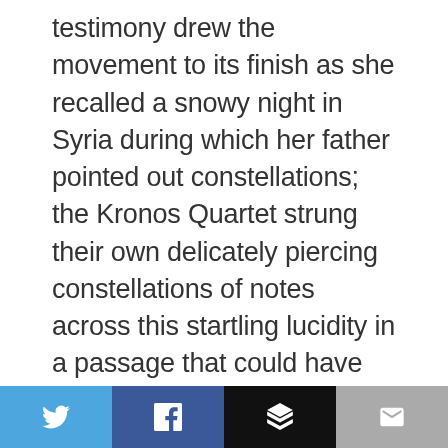testimony drew the movement to its finish as she recalled a snowy night in Syria during which her father pointed out constellations; the Kronos Quartet strung their own delicately piercing constellations of notes across this startling lucidity in a passage that could have finished the whole piece. Following such a breathtaking moment, the fourth movement felt almost superfluous, especially the shift from the stark, gut-wrenching testimonies of survivors to the recitation of a poem by investigative journalist David Barsamian. Clumsy lines like “A century is a long time” once again felt like obvious attempts to tell rather than show and ultimately distracted from the work as
[Figure (other): Social sharing bar with four buttons: Twitter (blue bird icon), Facebook (blue f icon), Buffer (black layers icon), Email (grey envelope icon)]